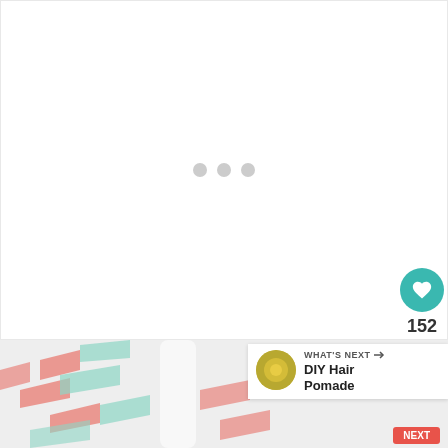[Figure (screenshot): A large white loading/placeholder area with three small grey dots in the center indicating content loading, with a teal heart button showing 152 likes and a grey share button on the right side]
[Figure (photo): Bottom portion showing a product photo with a spray bottle and chevron-patterned fabric/packaging in coral/pink and mint green colors on a white background, with a 'What's Next' panel showing DIY Hair Pomade]
152
WHAT'S NEXT → DIY Hair Pomade